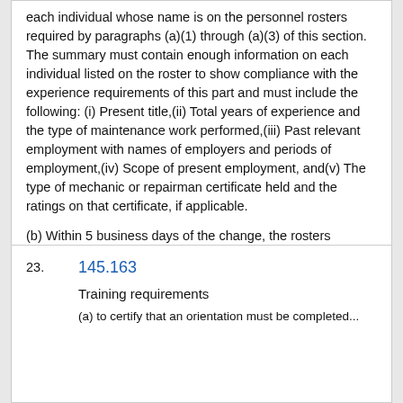each individual whose name is on the personnel rosters required by paragraphs (a)(1) through (a)(3) of this section. The summary must contain enough information on each individual listed on the roster to show compliance with the experience requirements of this part and must include the following: (i) Present title,(ii) Total years of experience and the type of maintenance work performed,(iii) Past relevant employment with names of employers and periods of employment,(iv) Scope of present employment, and(v) The type of mechanic or repairman certificate held and the ratings on that certificate, if applicable.

(b) Within 5 business days of the change, the rosters required by this section must reflect changes caused by termination, reassignment, change in duties or scope of assignment, or addition of personnel.
23.
145.163
Training requirements
(a) To certify that an orientation must be completed...